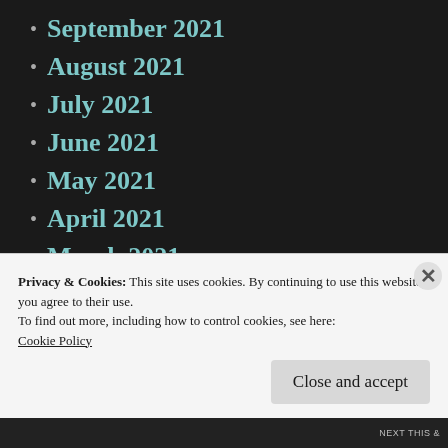September 2021
August 2021
July 2021
June 2021
May 2021
April 2021
March 2021
February 2021
January 2021
December 2020
November 2020
Privacy & Cookies: This site uses cookies. By continuing to use this website, you agree to their use.
To find out more, including how to control cookies, see here:
Cookie Policy